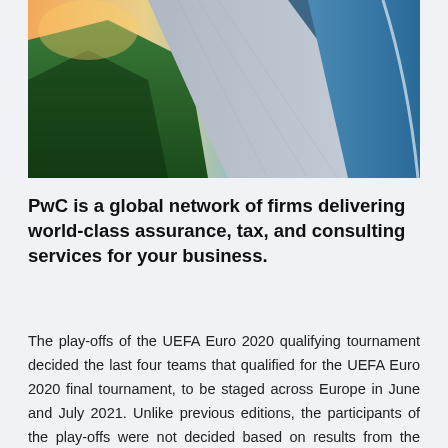[Figure (photo): Aerial photograph of a curved concrete structure or bridge, with green hills on the left, a sunrise/sunset sky, and a blue road surface curving to the right.]
PwC is a global network of firms delivering world-class assurance, tax, and consulting services for your business.
The play-offs of the UEFA Euro 2020 qualifying tournament decided the last four teams that qualified for the UEFA Euro 2020 final tournament, to be staged across Europe in June and July 2021. Unlike previous editions, the participants of the play-offs were not decided based on results from the qualifying group